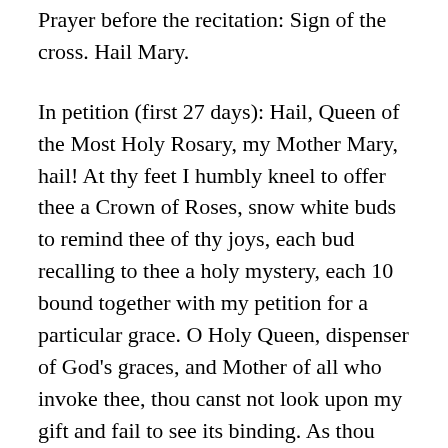Prayer before the recitation: Sign of the cross. Hail Mary.
In petition (first 27 days): Hail, Queen of the Most Holy Rosary, my Mother Mary, hail! At thy feet I humbly kneel to offer thee a Crown of Roses, snow white buds to remind thee of thy joys, each bud recalling to thee a holy mystery, each 10 bound together with my petition for a particular grace. O Holy Queen, dispenser of God's graces, and Mother of all who invoke thee, thou canst not look upon my gift and fail to see its binding. As thou receivest my gift, so wilt thou receive my petition; from thy bounty thou wilt give me the favor I so earnestly and trustingly seek. I despair of nothing that I ask of thee. Show thyself my Mother!
In thanksgiving (last 27 days): Hail, Queen of the Most Holy Rosary, my Mother Mary, hail! At thy feet I gratefully kneel to offer thee a Crown of Roses…